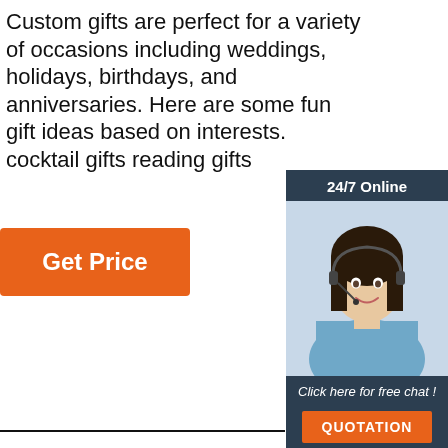Custom gifts are perfect for a variety of occasions including weddings, holidays, birthdays, and anniversaries. Here are some fun gift ideas based on interests. cocktail gifts reading gifts
[Figure (illustration): Orange 'Get Price' button]
[Figure (photo): Customer service widget with dark background, photo of smiling woman with headset, '24/7 Online' header, 'Click here for free chat!' text, and orange QUOTATION button]
HIGH DEFINITION VISION AND FREE VISION
Nylon polarizing lens, filter, glare and UV, restore clear vision
[Figure (logo): TOP logo with orange arch dots above and orange text 'TOP']
[Figure (illustration): Bottom gradient bar with light blue to dark blue segments]